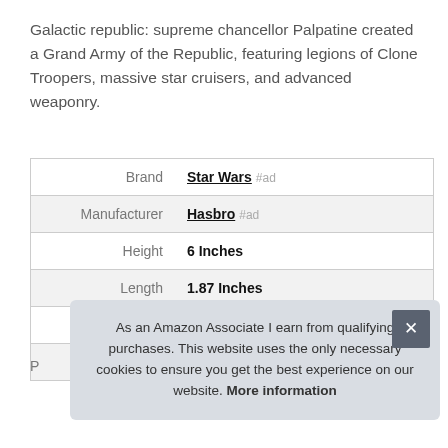Galactic republic: supreme chancellor Palpatine created a Grand Army of the Republic, featuring legions of Clone Troopers, massive star cruisers, and advanced weaponry.
|  |  |
| --- | --- |
| Brand | Star Wars #ad |
| Manufacturer | Hasbro #ad |
| Height | 6 Inches |
| Length | 1.87 Inches |
| Weight | 2.2 Pounds |
| Width |  |
As an Amazon Associate I earn from qualifying purchases. This website uses the only necessary cookies to ensure you get the best experience on our website. More information